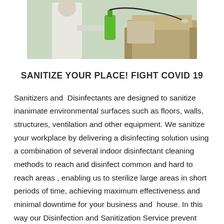[Figure (photo): A person in white protective suit spraying disinfectant with a green pump sprayer, with furniture/couch visible in the background]
SANITIZE YOUR PLACE! FIGHT COVID 19
Sanitizers and  Disinfectants are designed to sanitize inanimate environmental surfaces such as floors, walls, structures, ventilation and other equipment. We sanitize your workplace by delivering a disinfecting solution using a combination of several indoor disinfectant cleaning methods to reach and disinfect common and hard to reach areas , enabling us to sterilize large areas in short periods of time, achieving maximum effectiveness and minimal downtime for your business and  house. In this way our Disinfection and Sanitization Service prevent your places